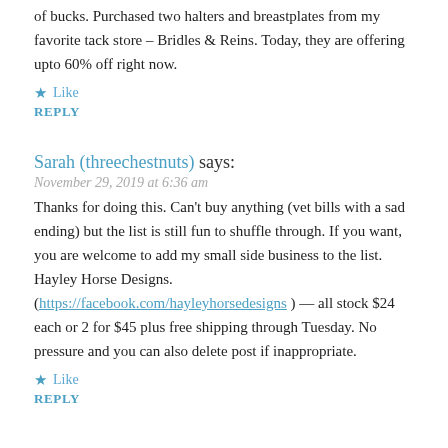of bucks. Purchased two halters and breastplates from my favorite tack store – Bridles & Reins. Today, they are offering upto 60% off right now.
★ Like
REPLY
Sarah (threechestnuts) says:
November 29, 2019 at 6:36 am
Thanks for doing this. Can't buy anything (vet bills with a sad ending) but the list is still fun to shuffle through. If you want, you are welcome to add my small side business to the list. Hayley Horse Designs. (https://facebook.com/hayleyhorsedesigns ) — all stock $24 each or 2 for $45 plus free shipping through Tuesday. No pressure and you can also delete post if inappropriate.
★ Like
REPLY